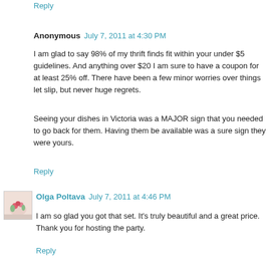Reply
Anonymous  July 7, 2011 at 4:30 PM
I am glad to say 98% of my thrift finds fit within your under $5 guidelines. And anything over $20 I am sure to have a coupon for at least 25% off. There have been a few minor worries over things let slip, but never huge regrets.
Seeing your dishes in Victoria was a MAJOR sign that you needed to go back for them. Having them be available was a sure sign they were yours.
Reply
Olga Poltava  July 7, 2011 at 4:46 PM
I am so glad you got that set. It's truly beautiful and a great price.
Thank you for hosting the party.
Reply